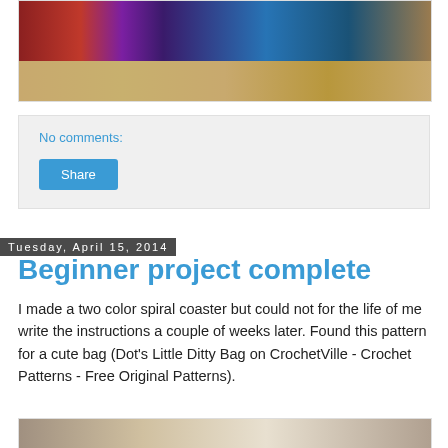[Figure (photo): Photo of colorful yarn balls (red, purple, teal/blue) in a wicker basket]
No comments:
Share
Tuesday, April 15, 2014
Beginner project complete
I made a two color spiral coaster but could not for the life of me write the instructions a couple of weeks later. Found this pattern for a cute bag (Dot's Little Ditty Bag on CrochetVille - Crochet Patterns - Free Original Patterns).
[Figure (photo): Photo of a crocheted item or pattern on paper]